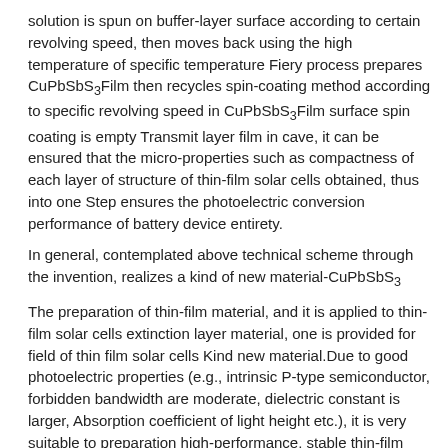solution is spun on buffer-layer surface according to certain revolving speed, then moves back using the high temperature of specific temperature Fiery process prepares CuPbSbS3Film then recycles spin-coating method according to specific revolving speed in CuPbSbS3Film surface spin coating is empty Transmit layer film in cave, it can be ensured that the micro-properties such as compactness of each layer of structure of thin-film solar cells obtained, thus into one Step ensures the photoelectric conversion performance of battery device entirety.
In general, contemplated above technical scheme through the invention, realizes a kind of new material-CuPbSbS3
The preparation of thin-film material, and it is applied to thin-film solar cells extinction layer material, one is provided for field of thin film solar cells Kind new material.Due to good photoelectric properties (e.g., intrinsic P-type semiconductor, forbidden bandwidth are moderate, dielectric constant is larger, Absorption coefficient of light height etc.), it is very suitable to preparation high-performance, stable thin-film solar cells，Simultaneously